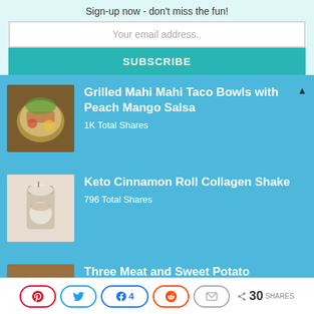Sign-up now - don't miss the fun!
Your email address..
SUBSCRIBE
Grilled Mahi Mahi Taco Bowls with Peach Mango Salsa
1K Total Shares
Keto Cinnamon Roll Collagen Shake
796 Total Shares
Three Meat and Sweet Potato Breakfast Casserole
30 SHARES